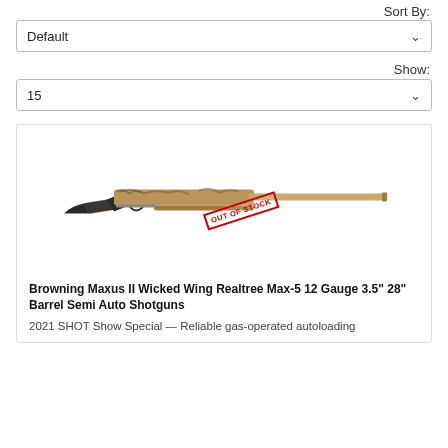Sort By:
Default
Show:
15
[Figure (photo): Browning Maxus II Wicked Wing Realtree Max-5 12 Gauge semi-auto shotgun in camouflage finish with an 'OUT OF STOCK' red stamp overlay]
Browning Maxus II Wicked Wing Realtree Max-5 12 Gauge 3.5" 28" Barrel Semi Auto Shotguns
2021 SHOT Show Special — Reliable gas-operated autoloading